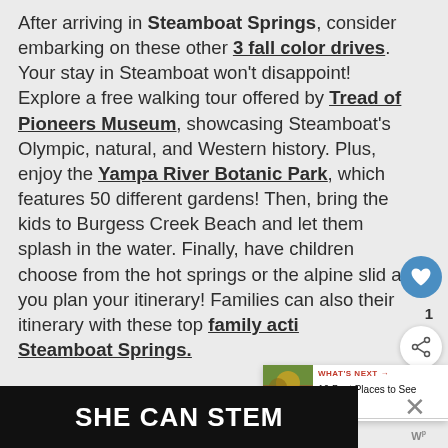After arriving in Steamboat Springs, consider embarking on these other 3 fall color drives. Your stay in Steamboat won't disappoint! Explore a free walking tour offered by Tread of Pioneers Museum, showcasing Steamboat's Olympic, natural, and Western history. Plus, enjoy the Yampa River Botanic Park, which features 50 different gardens! Then, bring the kids to Burgess Creek Beach and let them splash in the water. Finally, have children choose from the hot springs or the alpine slid as you plan your itinerary! Families can also their itinerary with these top family activities in Steamboat Springs.
[Figure (screenshot): Social media UI overlay: heart (like) button in blue circle, count '1', and share button in white circle]
[Figure (screenshot): What's Next panel showing thumbnail of fall foliage scene with text '16 Best Places to See Fall...']
[Figure (screenshot): Advertisement banner at bottom reading 'SHE CAN STEM' in white bold text on dark background, with close X button]